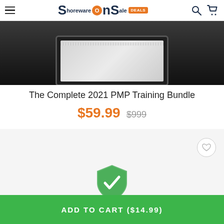ShorewareOnSale DEALS
[Figure (photo): Product image showing a tablet device on a dark background]
The Complete 2021 PMP Training Bundle
$59.99  $999
[Figure (illustration): Green shield with white checkmark trust badge]
ADD TO CART ($14.99)